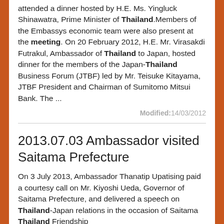attended a dinner hosted by H.E. Ms. Yingluck Shinawatra, Prime Minister of Thailand.Members of the Embassys economic team were also present at the meeting. On 20 February 2012, H.E. Mr. Virasakdi Futrakul, Ambassador of Thailand to Japan, hosted dinner for the members of the Japan-Thailand Business Forum (JTBF) led by Mr. Teisuke Kitayama, JTBF President and Chairman of Sumitomo Mitsui Bank. The ...
Modified:14/03/2012
2013.07.03 Ambassador visited Saitama Prefecture
On 3 July 2013, Ambassador Thanatip Upatising paid a courtesy call on Mr. Kiyoshi Ueda, Governor of Saitama Prefecture, and delivered a speech on Thailand-Japan relations in the occasion of Saitama Thailand Friendship...